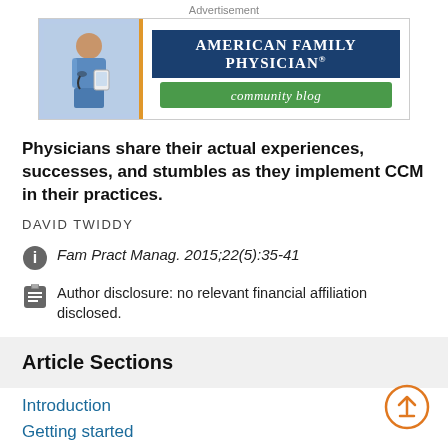[Figure (logo): American Family Physician community blog advertisement banner with photo of a physician and branded logo]
Physicians share their actual experiences, successes, and stumbles as they implement CCM in their practices.
DAVID TWIDDY
Fam Pract Manag. 2015;22(5):35-41
Author disclosure: no relevant financial affiliation disclosed.
Article Sections
Introduction
Getting started